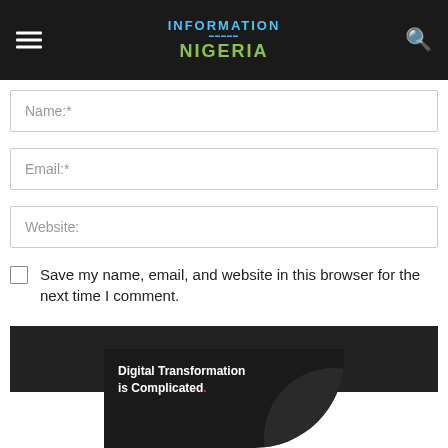Information Nigeria
Name:*
Email:*
Website:
Save my name, email, and website in this browser for the next time I comment.
POST COMMENT
[Figure (illustration): Dark advertisement banner with text 'Digital Transformation is Complicated.' with a red period, showing a dark circular graphic]